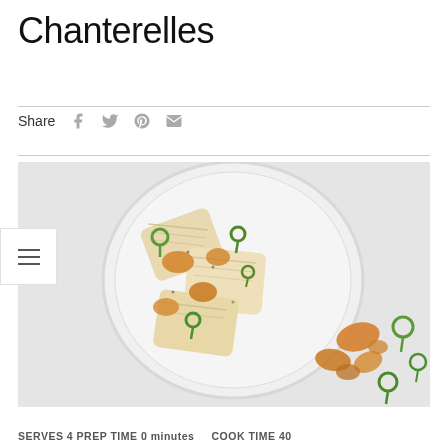Chanterelles
Share
[Figure (photo): A white plate with seared fish fillets, golden chanterelle mushrooms, and fiddlehead ferns, with loose mushrooms and ferns arranged beside the plate on a light grey background.]
SERVES 4 PREP TIME 0 minutes COOK TIME 40